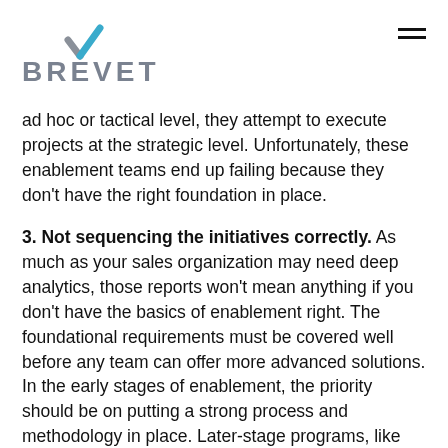[Figure (logo): Brevet logo with stylized blue and grey checkmark above bold grey text reading BREVET]
ad hoc or tactical level, they attempt to execute projects at the strategic level. Unfortunately, these enablement teams end up failing because they don't have the right foundation in place.
3. Not sequencing the initiatives correctly. As much as your sales organization may need deep analytics, those reports won't mean anything if you don't have the basics of enablement right. The foundational requirements must be covered well before any team can offer more advanced solutions. In the early stages of enablement, the priority should be on putting a strong process and methodology in place. Later-stage programs, like